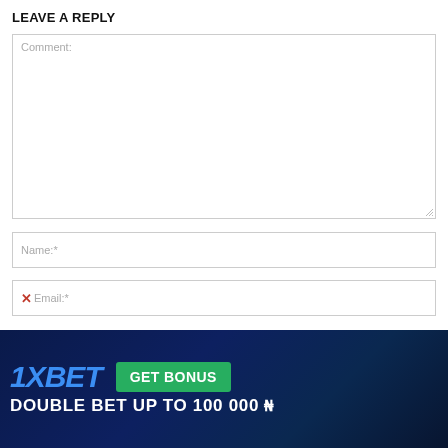LEAVE A REPLY
Comment:
Name:*
Email:*
[Figure (infographic): 1XBET advertisement banner with blue background showing '1XBET' logo in blue italic text, a green 'GET BONUS' button, and white bold text 'DOUBLE BET UP TO 100 000 ₦']